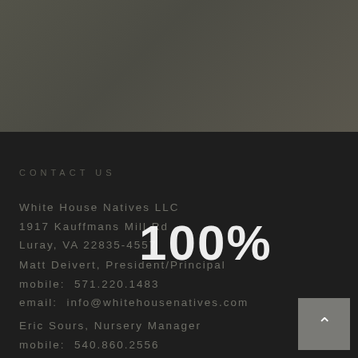[Figure (photo): Dark banner photo at top of page showing an outdoor/nature scene, muted dark greenish-gray tones]
CONTACT US
White House Natives LLC
1917 Kauffmans Mill Rd
Luray, VA 22835-4557
Matt Deivert, President/Principal
mobile:  571.220.1483
email:  info@whitehousenatives.com
Eric Sours, Nursery Manager
mobile:  540.860.2556